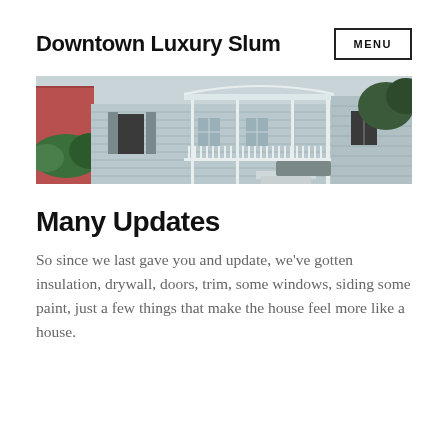Downtown Luxury Slum  MENU
[Figure (photo): Exterior photo of a light blue/grey single-story house with a front porch, white railings and columns, shuttered windows, and a tree on the left side.]
Many Updates
So since we last gave you and update, we've gotten insulation, drywall, doors, trim, some windows, siding some paint, just a few things that make the house feel more like a house.